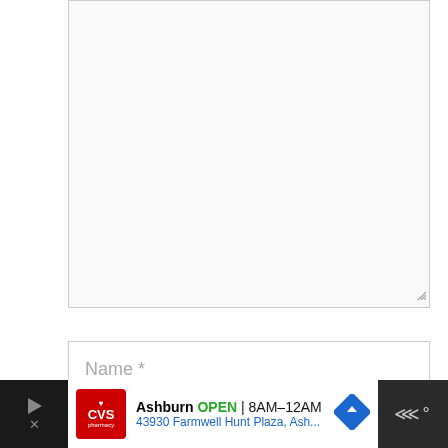[Figure (screenshot): A textarea input box (comment field) with a light gray background, gray border, and resize handle in the bottom-right corner.]
Name *
Email *
Save my name, email, and website in this browser for the next time I comment.
[Figure (other): A blue square scroll-to-top button with a white upward-pointing chevron/arrow.]
[Figure (screenshot): A dark bottom bar containing a CVS Pharmacy advertisement showing 'Ashburn OPEN 8AM-12AM, 43930 Farmwell Hunt Plaza, Ash...' with CVS logo and navigation arrow, plus a dark right section with menu dots icon.]